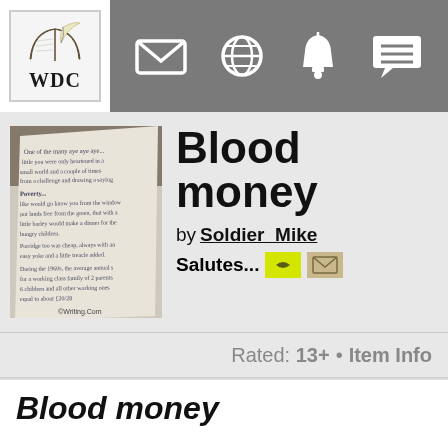WDC navigation bar with logo and icons (mail, globe, bell, chat)
[Figure (photo): Handwritten poem manuscript on paper, photographed at an angle against a dark background. Watermark: ©Writing.Com]
Blood money
by Soldier_Mike Salutes...
Rated: 13+ • Item Info
Blood money